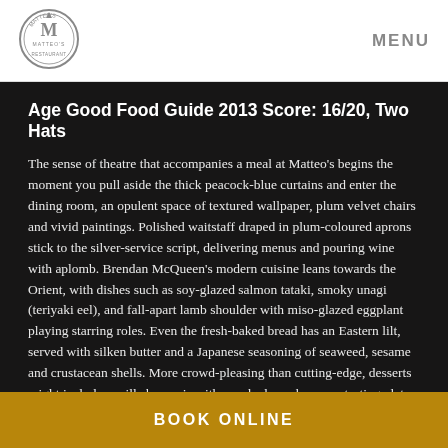[Figure (logo): Matteo's restaurant logo — circular emblem with stylized M and decorative border in grey]
MENU
Age Good Food Guide 2013 Score: 16/20, Two Hats
The sense of theatre that accompanies a meal at Matteo's begins the moment you pull aside the thick peacock-blue curtains and enter the dining room, an opulent space of textured wallpaper, plum velvet chairs and vivid paintings. Polished waitstaff draped in plum-coloured aprons stick to the silver-service script, delivering menus and pouring wine with aplomb. Brendan McQueen's modern cuisine leans towards the Orient, with dishes such as soy-glazed salmon tataki, smoky unagi (teriyaki eel), and fall-apart lamb shoulder with miso-glazed eggplant playing starring roles. Even the fresh-baked bread has an Eastern lilt, served with silken butter and a Japanese seasoning of seaweed, sesame and crustacean shells. More crowd-pleasing than cutting-edge, desserts might include vanilla bavarois with poached peaches, or a tasting plate of chocolate fondant, berry
BOOK ONLINE